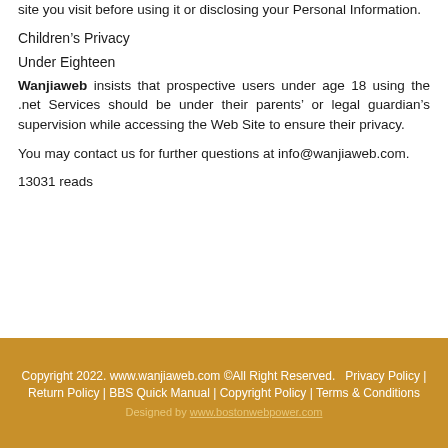site you visit before using it or disclosing your Personal Information.
Children’s Privacy
Under Eighteen
Wanjiaweb insists that prospective users under age 18 using the .net Services should be under their parents’ or legal guardian’s supervision while accessing the Web Site to ensure their privacy.
You may contact us for further questions at info@wanjiaweb.com.
13031 reads
Copyright 2022. www.wanjiaweb.com ©All Right Reserved. Privacy Policy | Return Policy | BBS Quick Manual | Copyright Policy | Terms & Conditions Designed by www.bostonwebpower.com